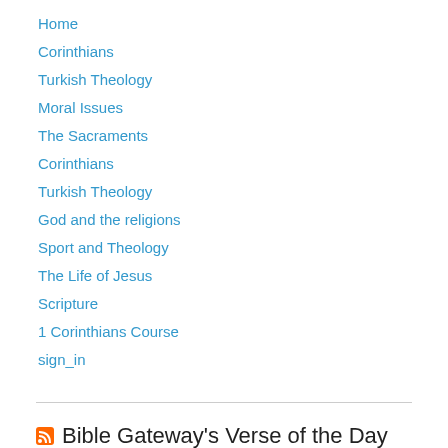Home
Corinthians
Turkish Theology
Moral Issues
The Sacraments
Corinthians
Turkish Theology
God and the religions
Sport and Theology
The Life of Jesus
Scripture
1 Corinthians Course
sign_in
Bible Gateway's Verse of the Day
Psalm 16:8
“I keep my eyes always on the LORD. With him at my right hand, I will